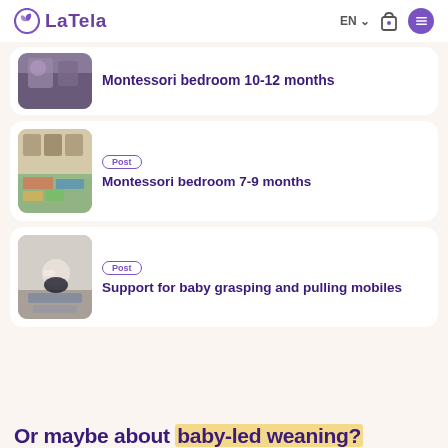LaTela | EN | bag | menu
Montessori bedroom 10-12 months
[Figure (photo): Photo of baby in Montessori bedroom, partially cut off at top]
[Figure (photo): Photo of Montessori bedroom with colorful rug and butterfly pictures on wall]
Post
Montessori bedroom 7-9 months
[Figure (photo): Photo of baby sitting and playing, grasping mobile]
Post
Support for baby grasping and pulling mobiles
Or maybe about baby-led weaning?